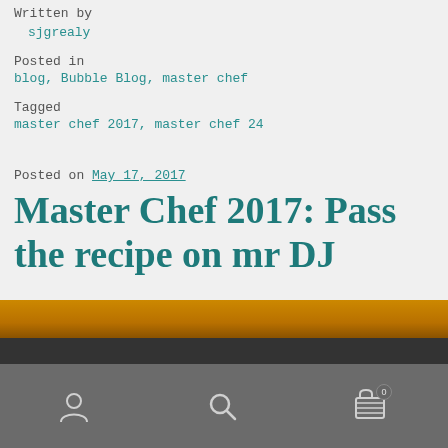sjgrealy
Posted in
blog, Bubble Blog, master chef
Tagged
master chef 2017, master chef 24
Posted on May 17, 2017
Master Chef 2017: Pass the recipe on mr DJ
[Figure (photo): Orange/brown image bar at bottom of content area, dark navigation bar below with user, search, and cart icons]